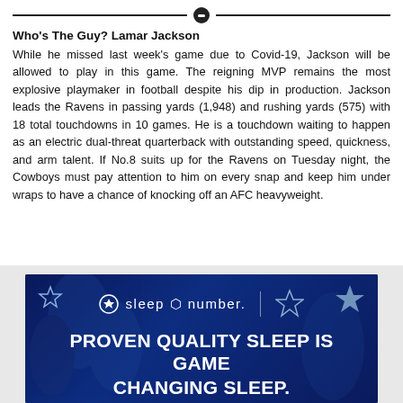Who's The Guy? Lamar Jackson
While he missed last week's game due to Covid-19, Jackson will be allowed to play in this game. The reigning MVP remains the most explosive playmaker in football despite his dip in production. Jackson leads the Ravens in passing yards (1,948) and rushing yards (575) with 18 total touchdowns in 10 games. He is a touchdown waiting to happen as an electric dual-threat quarterback with outstanding speed, quickness, and arm talent. If No.8 suits up for the Ravens on Tuesday night, the Cowboys must pay attention to him on every snap and keep him under wraps to have a chance of knocking off an AFC heavyweight.
[Figure (illustration): Sleep Number advertisement banner with dark blue background showing football players silhouette, Sleep Number logo with Cowboys star, headline 'PROVEN QUALITY SLEEP IS GAME CHANGING SLEEP. FROM $899.' and a white bed image.]